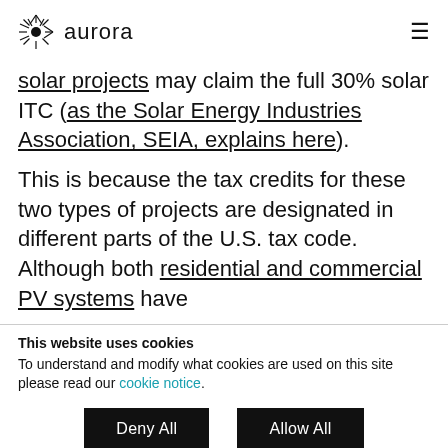aurora
solar projects may claim the full 30% solar ITC (as the Solar Energy Industries Association, SEIA, explains here).
This is because the tax credits for these two types of projects are designated in different parts of the U.S. tax code. Although both residential and commercial PV systems have
This website uses cookies
To understand and modify what cookies are used on this site please read our cookie notice.
Deny All
Allow All